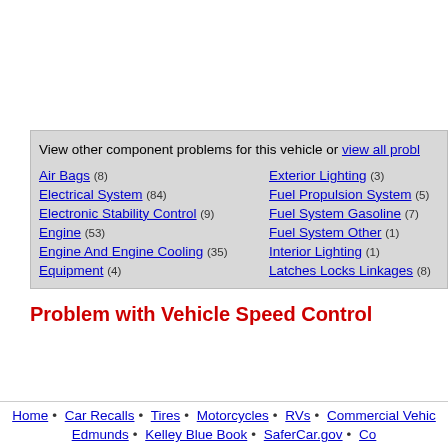View other component problems for this vehicle or view all probl…
Air Bags (8)
Exterior Lighting (3)
Electrical System (84)
Fuel Propulsion System (5)
Electronic Stability Control (9)
Fuel System Gasoline (7)
Engine (53)
Fuel System Other (1)
Engine And Engine Cooling (35)
Interior Lighting (1)
Equipment (4)
Latches Locks Linkages (8)
Problem with Vehicle Speed Control
Home • Car Recalls • Tires • Motorcycles • RVs • Commercial Vehic… Edmunds • Kelley Blue Book • SaferCar.gov • Co…